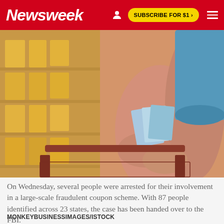Newsweek | SUBSCRIBE FOR $1 >
[Figure (photo): A woman in a grocery store aisle holding coupons over a shopping cart, with yellow-packaged products on shelves in the background.]
On Wednesday, several people were arrested for their involvement in a large-scale fraudulent coupon scheme. With 87 people identified across 23 states, the case has been handed over to the FBI.
MONKEYBUSINESSIMAGES/ISTOCK